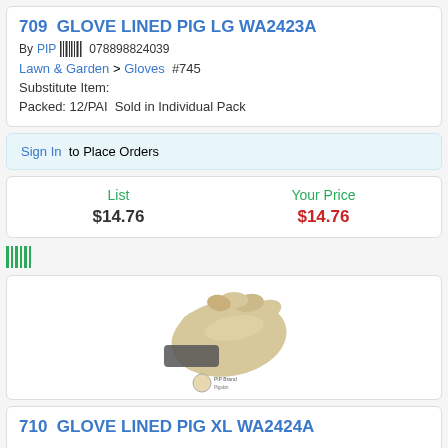709  GLOVE LINED PIG LG WA2423A
By PIP  078898824039
Lawn & Garden > Gloves  #745
Substitute Item:
Packed: 12/PAI  Sold in Individual Pack
Sign In  to Place Orders
| List | Your Price |
| --- | --- |
| $14.76 | $14.76 |
[Figure (illustration): Image of tan/beige lined pig leather gloves, size large, with a small color swatch labeled PIP brand]
710  GLOVE LINED PIG XL WA2424A